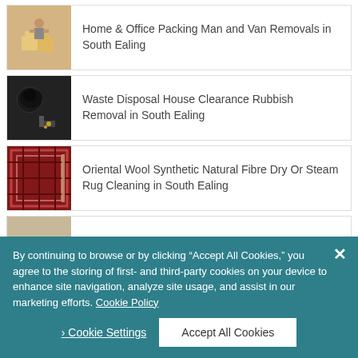Home & Office Packing Man and Van Removals in South Ealing
Waste Disposal House Clearance Rubbish Removal in South Ealing
Oriental Wool Synthetic Natural Fibre Dry Or Steam Rug Cleaning in South Ealing
Suede Leather Sofa Cleaning in South Ealing
Sofa Chair Seat Furniture Upholstery Cleaning in South
By continuing to browse or by clicking “Accept All Cookies,” you agree to the storing of first- and third-party cookies on your device to enhance site navigation, analyze site usage, and assist in our marketing efforts. Cookie Policy
×
› Cookie Settings
Accept All Cookies